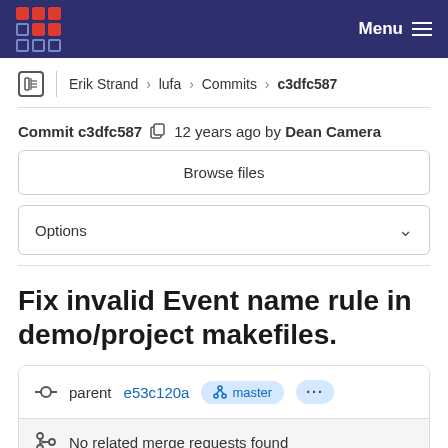Menu
Erik Strand > lufa > Commits > c3dfc587
Commit c3dfc587  12 years ago by Dean Camera
Browse files
Options
Fix invalid Event name rule in demo/project makefiles.
parent e53c120a  master  ...
No related merge requests found